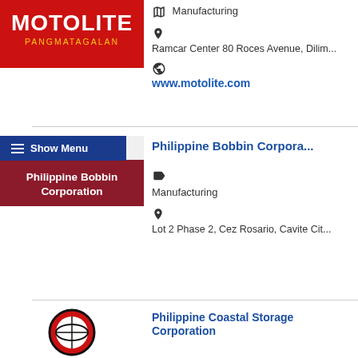[Figure (logo): Motolite Pangmatagalan logo - red background with white text]
Manufacturing
Ramcar Center 80 Roces Avenue, Dili...
www.motolite.com
[Figure (logo): Philippine Bobbin Corporation / Imperial Tobacco logo]
Philippine Bobbin Corporation
Manufacturing
Lot 2 Phase 2, Cez Rosario, Cavite Cit...
[Figure (logo): Philippine Coastal Storage Corporation logo - red and black circular emblem]
Philippine Coastal Storage Corporation